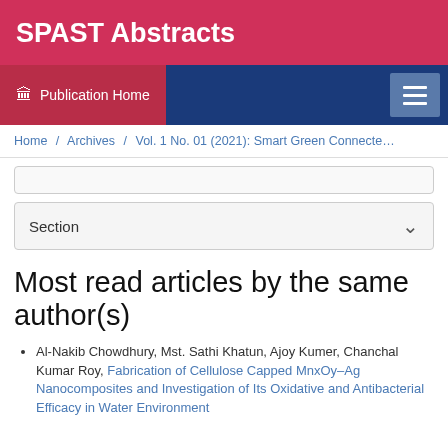SPAST Abstracts
Publication Home
Home / Archives / Vol. 1 No. 01 (2021): Smart Green Connected
Section
Most read articles by the same author(s)
Al-Nakib Chowdhury, Mst. Sathi Khatun, Ajoy Kumer, Chanchal Kumar Roy, Fabrication of Cellulose Capped MnxOy–Ag Nanocomposites and Investigation of Its Oxidative and Antibacterial Efficacy in Water Environment